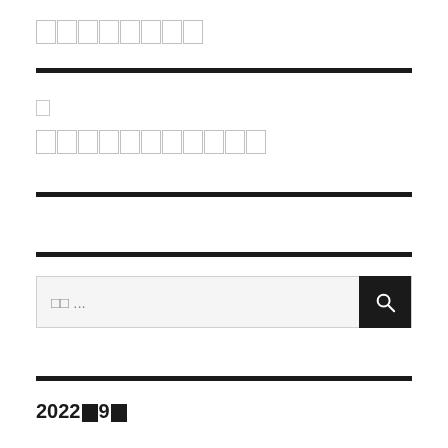□□□□□□□□
□
□□□□□□□□□□□
□□ ...
2022■9■